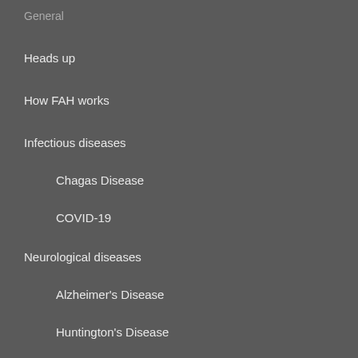General
Heads up
How FAH works
Infectious diseases
Chagas Disease
COVID-19
Neurological diseases
Alzheimer's Disease
Huntington's Disease
Parkinson's Disease
Papers
Science